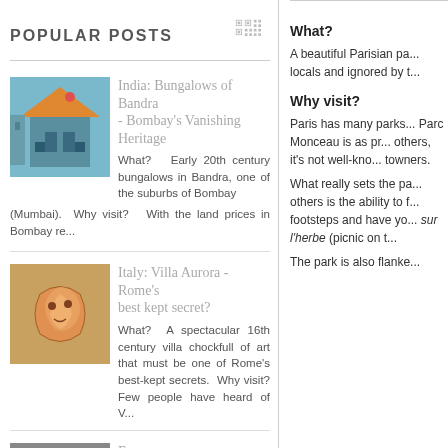POPULAR POSTS
India: Bungalows of Bandra - Bombay's Vanishing Heritage — What? Early 20th century bungalows in Bandra, one of the suburbs of Bombay (Mumbai). Why visit? With the land prices in Bombay re...
Italy: Villa Aurora - Rome's best kept secret? — What? A spectacular 16th century villa chockfull of art that must be one of Rome's best-kept secrets. Why visit? Few people have heard of V...
France: Vincent van Gogh's grave — What? The grave of Vincent van Gogh- and the village where he spent the last weeks of his life. Why visit? The painter equally famous...
What?
A beautiful Parisian pa... locals and ignored by t...
Why visit?
Paris has many parks... Parc Monceau is as pr... others, it's not well-kno... towners.
What really sets the pa... others is the ability to f... footsteps and have yo... sur l'herbe (picnic on t...
The park is also flanke...